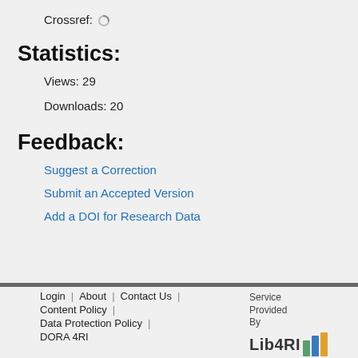Crossref: [spinner]
Statistics:
Views: 29
Downloads: 20
Feedback:
Suggest a Correction
Submit an Accepted Version
Add a DOI for Research Data
Login | About | Contact Us | Content Policy | Data Protection Policy | DORA 4RI   Service Provided By Lib4RI